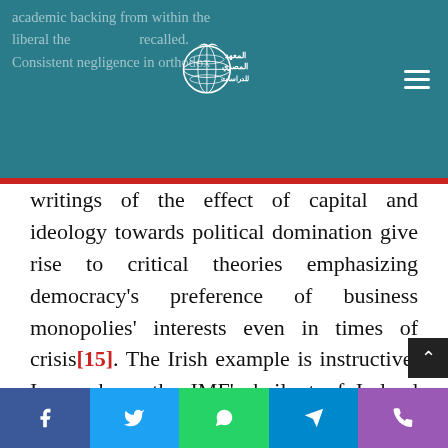academic backing from within the liberal the... recalled. Consistent negligence in orthodox
[Figure (logo): Al-Masry Al-Madrasa (Egyptian Institute for Studies) logo with globe and Arabic text]
writings of the effect of capital and ideology towards political domination give rise to critical theories emphasizing democracy's preference of business monopolies' interests even in times of crisis[15]. The Irish example is instructive. In numbers, the IMF's bailout of Ireland with a €67.5bn rescue loan protected bondholders
Social share buttons: Facebook, Twitter, WhatsApp, Telegram, Phone